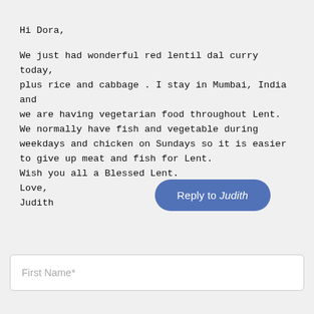Hi Dora,

We just had wonderful red lentil dal curry today, plus rice and cabbage . I stay in Mumbai, India and we are having vegetarian food throughout Lent. We normally have fish and vegetable during weekdays and chicken on Sundays so it is easier to give up meat and fish for Lent.
Wish you all a Blessed Lent.
Love,
Judith
[Figure (other): Blue rounded button labeled 'Reply to Judith' (Judith in italic)]
First Name*